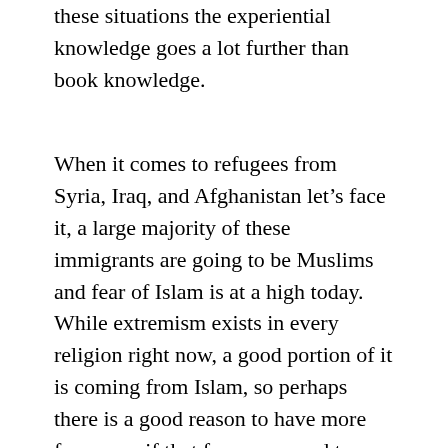these situations the experiential knowledge goes a lot further than book knowledge.
When it comes to refugees from Syria, Iraq, and Afghanistan let’s face it, a large majority of these immigrants are going to be Muslims and fear of Islam is at a high today.  While extremism exists in every religion right now, a good portion of it is coming from Islam, so perhaps there is a good reason to have more fear, even if that fear compared to other things we have to fear in this world, are exaggerated.  Once again I don’t want to get into any No True Scotsman arguments, because we can say extremists are not truly followers of Islam, but they claim they are so let’s go with the idea that whatever religion people claim they